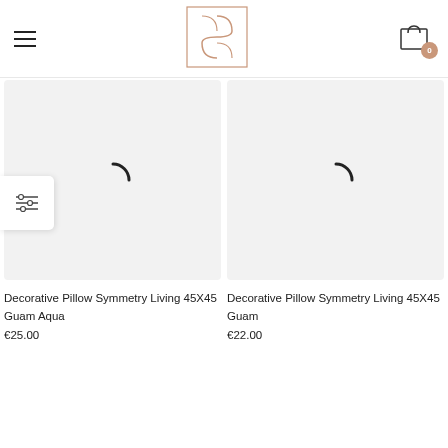[Figure (logo): Brand logo with geometric S-curve design in rose/copper line art inside a square border]
[Figure (photo): Product image placeholder with loading spinner - Decorative Pillow Symmetry Living 45X45 Guam Aqua]
Decorative Pillow Symmetry Living 45X45 Guam Aqua
€25.00
[Figure (photo): Product image placeholder with loading spinner - Decorative Pillow Symmetry Living 45X45 Guam]
Decorative Pillow Symmetry Living 45X45 Guam
€22.00